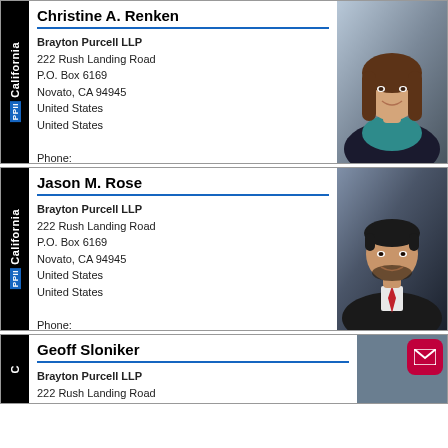Christine A. Renken
Brayton Purcell LLP
222 Rush Landing Road
P.O. Box 6169
Novato, CA 94945
United States
United States

Phone:
Fax: 415.898.1247
E-Mail: crenken@braytonlaw.com
braytonlaw.com
[Figure (photo): Professional headshot of Christine A. Renken, a woman with long brown hair, smiling, wearing a teal top and dark blazer]
Jason M. Rose
Brayton Purcell LLP
222 Rush Landing Road
P.O. Box 6169
Novato, CA 94945
United States
United States

Phone:
Fax: 415.898.1247
E-Mail: jrose@braytonlaw.com
braytonlaw.com
[Figure (photo): Professional headshot of Jason M. Rose, a man with dark hair and beard, wearing a dark suit with a red tie]
Geoff Sloniker
Brayton Purcell LLP
222 Rush Landing Road
P.O. Box 6169